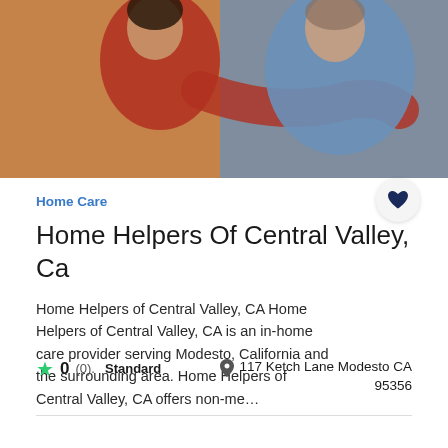[Figure (photo): A woman in a red sweater hugging an older man in a blue shirt from behind, warm indoor setting]
Home Care
Home Helpers Of Central Valley, Ca
Home Helpers of Central Valley, CA Home Helpers of Central Valley, CA is an in-home care provider serving Modesto, California and the surrounding area. Home Helpers of Central Valley, CA offers non-me…
0 (0).  Standard
117 Ketch Lane Modesto CA 95356